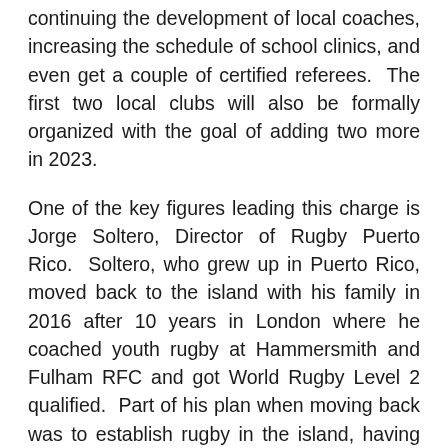continuing the development of local coaches, increasing the schedule of school clinics, and even get a couple of certified referees.  The first two local clubs will also be formally organized with the goal of adding two more in 2023.
One of the key figures leading this charge is Jorge Soltero, Director of Rugby Puerto Rico.  Soltero, who grew up in Puerto Rico, moved back to the island with his family in 2016 after 10 years in London where he coached youth rugby at Hammersmith and Fulham RFC and got World Rugby Level 2 qualified.  Part of his plan when moving back was to establish rugby in the island, having seen the very positive effect the sport had in youth players in the UK and believing that the sports culture was a good fit for local athletes and sports enthusiasts.
What began as a handful of players (some of whom had never even seen a rugby ball), steadily